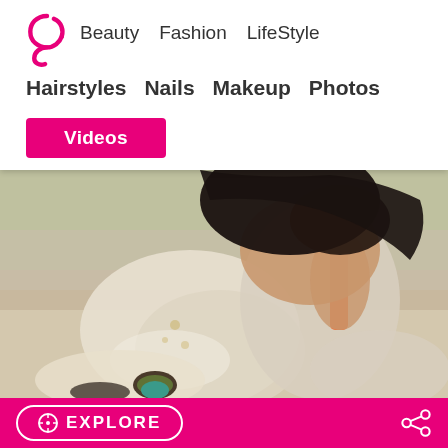Beauty  Fashion  LifeStyle  Hairstyles  Nails  Makeup  Photos  Videos
[Figure (photo): Woman in a floral/light patterned dress with orange straps, sitting outdoors, viewed from behind/side, with dark hair and a decorative bracelet. Outdoor summer fashion photo.]
EXPLORE  (share icon)